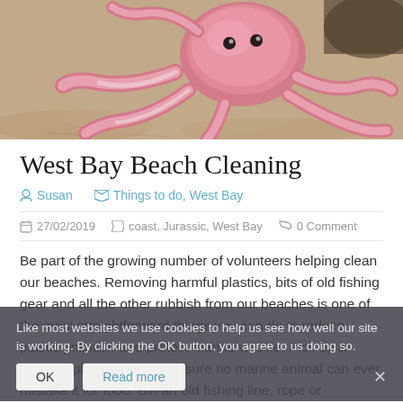[Figure (photo): A pink stuffed octopus toy lying on sandy beach]
West Bay Beach Cleaning
Susan   Things to do, West Bay
27/02/2019   coast, Jurassic, West Bay   0 Comment
Be part of the growing number of volunteers helping clean our beaches. Removing harmful plastics, bits of old fishing gear and all the other rubbish from our beaches is one of the most straightforward things you can do to reduce plastic pollution and protect marine wildlife. Pick up a piece of plastic and you ensure no marine animal can ever mistake it for food. Bin an old fishing line, rope or
Like most websites we use cookies to help us see how well our site is working. By clicking the OK button, you agree to us doing so.